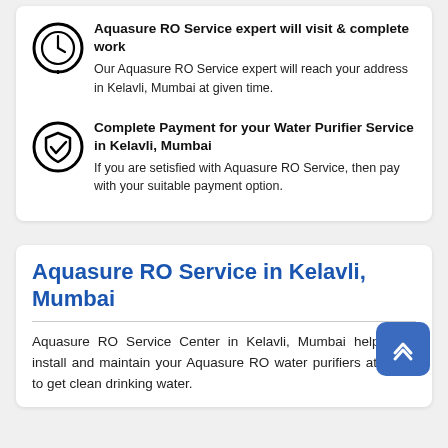Aquasure RO Service expert will visit & complete work
Our Aquasure RO Service expert will reach your address in Kelavli, Mumbai at given time.
Complete Payment for your Water Purifier Service in Kelavli, Mumbai
If you are setisfied with Aquasure RO Service, then pay with your suitable payment option.
Aquasure RO Service in Kelavli, Mumbai
Aquasure RO Service Center in Kelavli, Mumbai helps you install and maintain your Aquasure RO water purifiers at home to get clean drinking water.